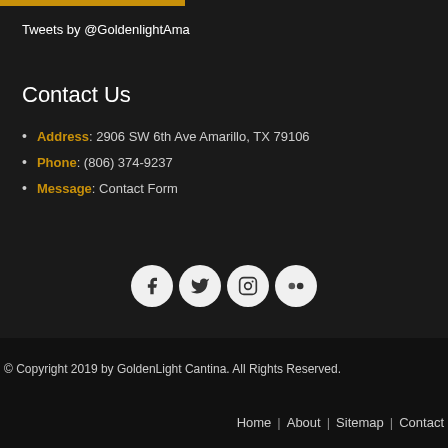Tweets by @GoldenlightAma
Contact Us
Address: 2906 SW 6th Ave Amarillo, TX 79106
Phone: (806) 374-9237
Message: Contact Form
[Figure (illustration): Four social media icon buttons (Facebook, Twitter, Instagram, Flickr) displayed as white circular icons on light grey circles]
© Copyright 2019 by GoldenLight Cantina. All Rights Reserved.
Home | About | Sitemap | Contact